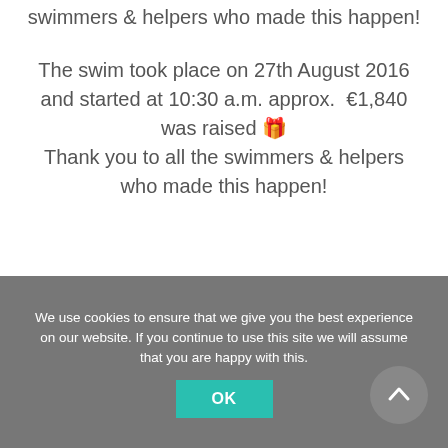swimmers & helpers who made this happen!
The swim took place on 27th August 2016 and started at 10:30 a.m. approx.  €1,840 was raised 🎉
Thank you to all the swimmers & helpers who made this happen!
We use cookies to ensure that we give you the best experience on our website. If you continue to use this site we will assume that you are happy with this.
OK